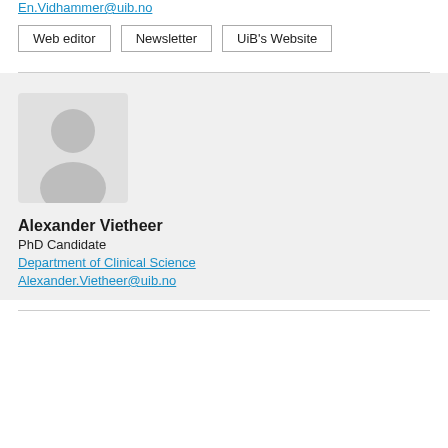En.Vidhammer@uib.no
Web editor
Newsletter
UiB's Website
[Figure (illustration): Default person silhouette avatar placeholder image on grey background]
Alexander Vietheer
PhD Candidate
Department of Clinical Science
Alexander.Vietheer@uib.no